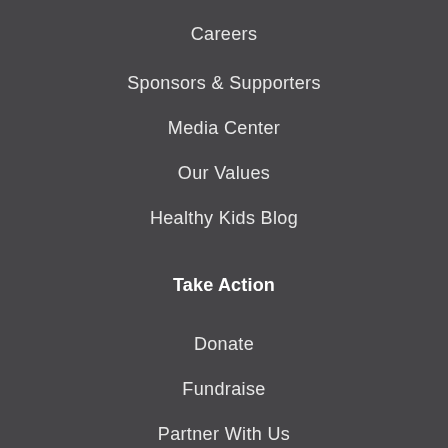Careers
Sponsors & Supporters
Media Center
Our Values
Healthy Kids Blog
Take Action
Donate
Fundraise
Partner With Us
Support for Schools and Families
Events